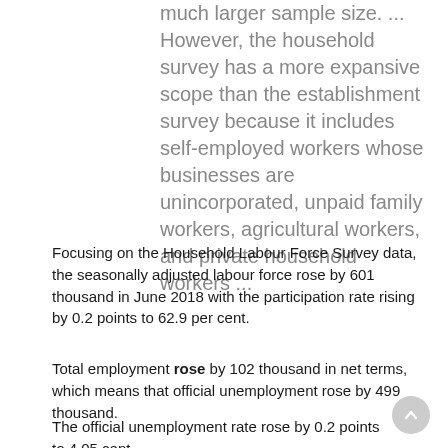much larger sample size. ... However, the household survey has a more expansive scope than the establishment survey because it includes self-employed workers whose businesses are unincorporated, unpaid family workers, agricultural workers, and private household workers ...
Focusing on the Household Labour Force Survey data, the seasonally adjusted labour force rose by 601 thousand in June 2018 with the participation rate rising by 0.2 points to 62.9 per cent.
Total employment rose by 102 thousand in net terms, which means that official unemployment rose by 499 thousand.
The official unemployment rate rose by 0.2 points to 4.05 cent.